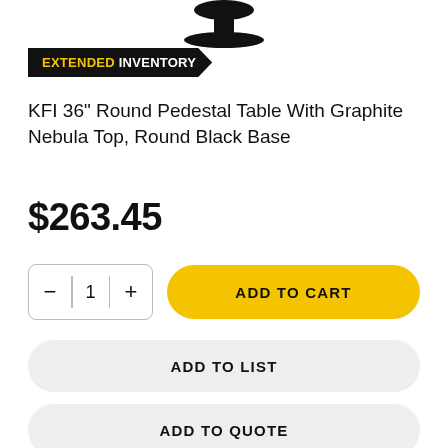[Figure (photo): Partial product image of a round pedestal table base, cropped at top of page]
EXTENDED INVENTORY
KFI 36" Round Pedestal Table With Graphite Nebula Top, Round Black Base
$263.45
1
ADD TO CART
ADD TO LIST
ADD TO QUOTE
PART 534008